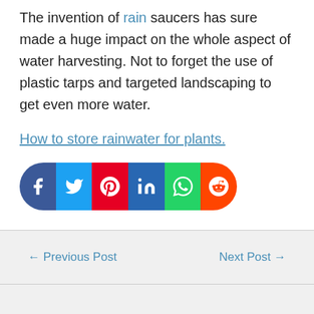The invention of rain saucers has sure made a huge impact on the whole aspect of water harvesting. Not to forget the use of plastic tarps and targeted landscaping to get even more water.
How to store rainwater for plants.
[Figure (other): Social sharing buttons bar with icons for Facebook, Twitter, Pinterest, LinkedIn, WhatsApp, and Reddit]
← Previous Post   Next Post →